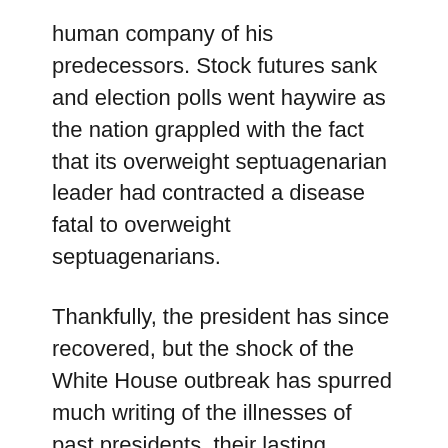human company of his predecessors. Stock futures sank and election polls went haywire as the nation grappled with the fact that its overweight septuagenarian leader had contracted a disease fatal to overweight septuagenarians.
Thankfully, the president has since recovered, but the shock of the White House outbreak has spurred much writing of the illnesses of past presidents, their lasting effects, and the deception and mystery that has shrouded them. Because we insist on electing mortal men to an unforgivably difficult job, there are too many examples to review, so what follows is the highlight reel.